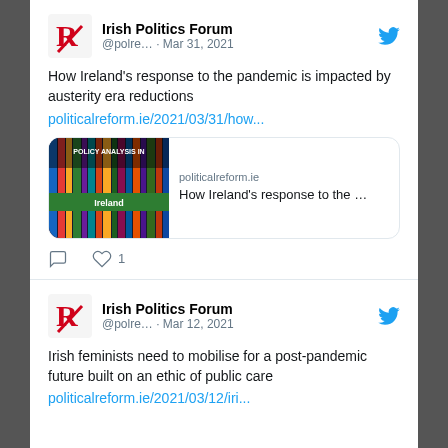[Figure (screenshot): Tweet from Irish Politics Forum (@polre...) dated Mar 31, 2021]
How Ireland's response to the pandemic is impacted by austerity era reductions
politicalreform.ie/2021/03/31/how...
[Figure (screenshot): Link card preview for politicalreform.ie showing 'How Ireland's response to the ...' with book cover image for Policy Analysis in Ireland]
[Figure (screenshot): Tweet from Irish Politics Forum (@polre...) dated Mar 12, 2021]
Irish feminists need to mobilise for a post-pandemic future built on an ethic of public care
politicalreform.ie/2021/03/12/iri...